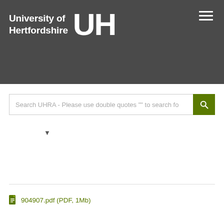[Figure (logo): University of Hertfordshire logo with UH monogram on dark grey background, with hamburger menu icon top right]
Search UHRA - Please use double quotes "" to search fo
▼
904907.pdf (PDF, 1Mb)